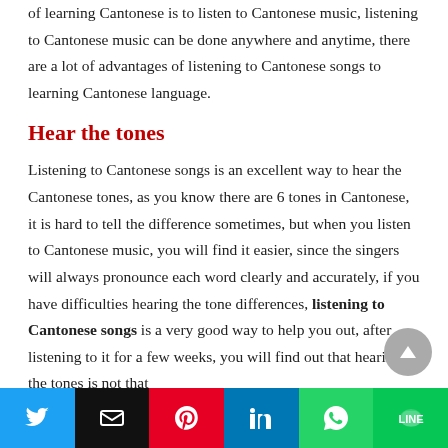of learning Cantonese is to listen to Cantonese music, listening to Cantonese music can be done anywhere and anytime, there are a lot of advantages of listening to Cantonese songs to learning Cantonese language.
Hear the tones
Listening to Cantonese songs is an excellent way to hear the Cantonese tones, as you know there are 6 tones in Cantonese, it is hard to tell the difference sometimes, but when you listen to Cantonese music, you will find it easier, since the singers will always pronounce each word clearly and accurately, if you have difficulties hearing the tone differences, listening to Cantonese songs is a very good way to help you out, after listening to it for a few weeks, you will find out that hearing the tones is not that